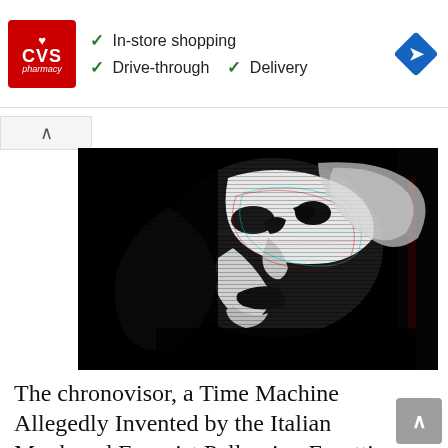[Figure (screenshot): CVS Pharmacy advertisement banner showing logo, checkmarks for In-store shopping, Drive-through, and Delivery, plus a navigation/directions icon]
[Figure (photo): High contrast black and white glitch-effect image of a person's face looking upward, with red and cyan color aberrations]
The chronovisor, a Time Machine Allegedly Invented by the Italian Monk and Exorcist Pellegrino Ernetti